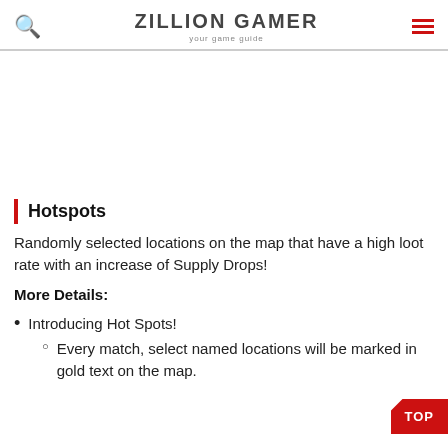ZILLION GAMER — your game guide
Hotspots
Randomly selected locations on the map that have a high loot rate with an increase of Supply Drops!
More Details:
Introducing Hot Spots!
Every match, select named locations will be marked in gold text on the map.